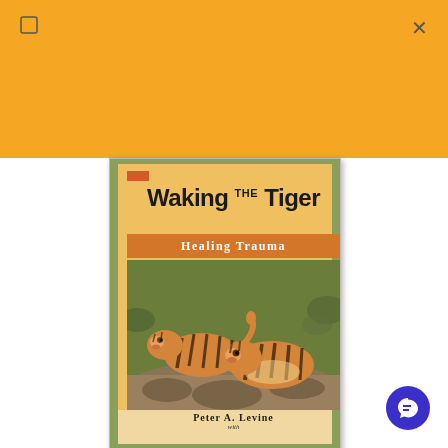[Figure (photo): Book cover of 'Waking the Tiger: Healing Trauma' by Peter A. Levine. Orange background at top of page. The book cover shows two tiger cubs on a nature background. The cover has a green border, golden/orange background, bold title text 'WAKING THE TIGER', subtitle 'HEALING TRAUMA' on an orange banner, a painting of two tigers in the center, and author name 'PETER A. LEVINE' at the bottom. A blue circular chat button appears in the bottom-right corner of the page.]